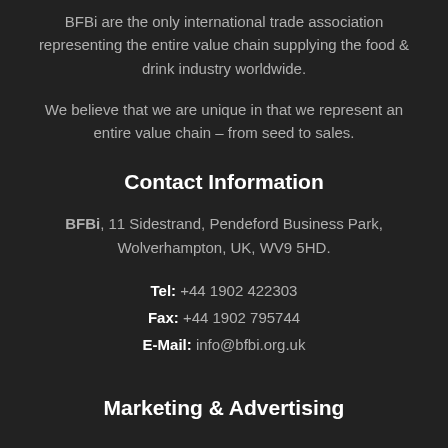BFBi are the only international trade association representing the entire value chain supplying the food & drink industry worldwide.
We believe that we are unique in that we represent an entire value chain – from seed to sales.
Contact Information
BFBi, 11 Sidestrand, Pendeford Business Park, Wolverhampton, UK, WV9 5HD.
Tel: +44 1902 422303
Fax: +44 1902 795744
E-Mail: info@bfbi.org.uk
Marketing & Advertising